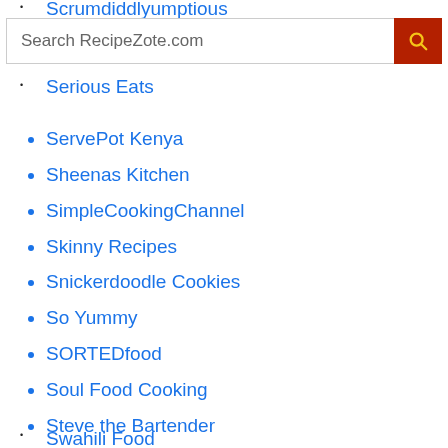Scrumdiddlyumptious
[Figure (screenshot): Search bar with placeholder text 'Search RecipeZote.com' and a red search button with magnifying glass icon]
Serious Eats
ServePot Kenya
Sheenas Kitchen
SimpleCookingChannel
Skinny Recipes
Snickerdoodle Cookies
So Yummy
SORTEDfood
Soul Food Cooking
Steve the Bartender
Storhanz Cooking
Street Foods
Swahili Food